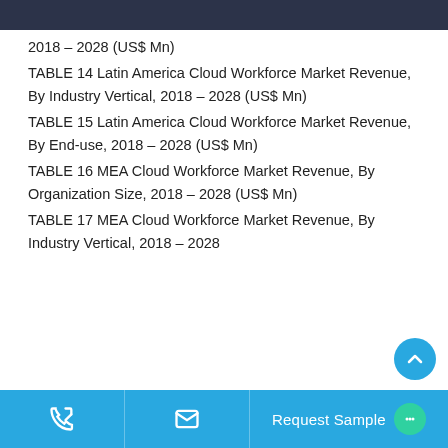2018 – 2028 (US$ Mn)
TABLE 14 Latin America Cloud Workforce Market Revenue, By Industry Vertical, 2018 – 2028 (US$ Mn)
TABLE 15 Latin America Cloud Workforce Market Revenue, By End-use, 2018 – 2028 (US$ Mn)
TABLE 16 MEA Cloud Workforce Market Revenue, By Organization Size, 2018 – 2028 (US$ Mn)
TABLE 17 MEA Cloud Workforce Market Revenue, By Industry Vertical, 2018 – 2028
Request Sample